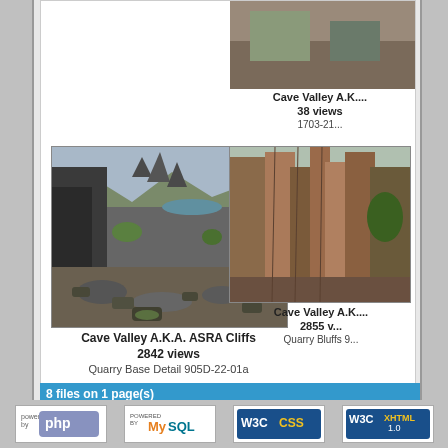42 views
Cave Valley A.K....
38 views
1703-21...
[Figure (photo): Large landscape photo of Cave Valley rocky cliffs and quarry area with mountains in background]
Cave Valley A.K.A. ASRA Cliffs
2842 views
Quarry Base Detail 905D-22-01a
[Figure (photo): Photo of Cave Valley rocky quarry bluffs]
Cave Valley A.K....
2855 v...
Quarry Bluffs 9...
8 files on 1 page(s)
Powered by Copperm...
[Figure (logo): PHP logo badge]
[Figure (logo): MySQL logo badge]
[Figure (logo): W3C CSS badge]
[Figure (logo): W3C XHTML 1.0 badge]